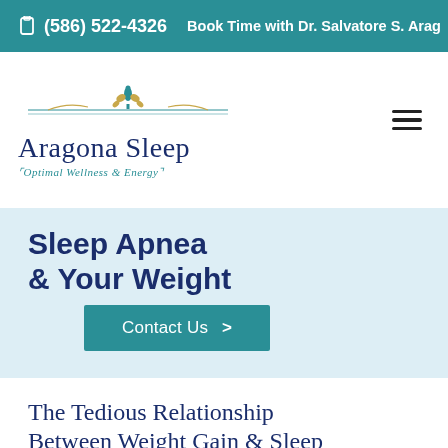(586) 522-4326   Book Time with Dr. Salvatore S. Arag...
[Figure (logo): Aragona Sleep - Optimal Wellness & Energy logo with decorative ornament]
Sleep Apnea & Your Weight
Contact Us >
The Tedious Relationship Between Weight Gain & Sleep